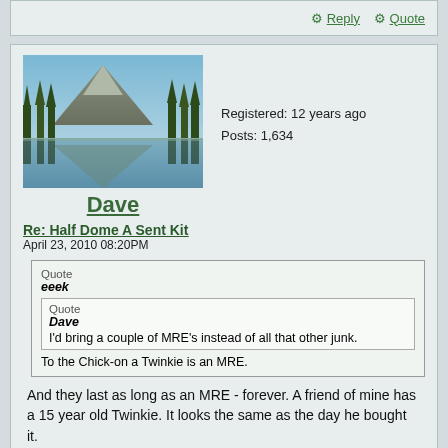Reply  Quote
[Figure (photo): Mountain landscape with lake reflection and pine trees, user avatar for Dave]
Dave
Registered: 12 years ago
Posts: 1,634
Re: Half Dome A Sent Kit
April 23, 2010 08:20PM
Quote
eeek
Quote
Dave
I'd bring a couple of MRE's instead of all that other junk.
To the Chick-on a Twinkie is an MRE.
And they last as long as an MRE - forever. A friend of mine has a 15 year old Twinkie. It looks the same as the day he bought it.
[Figure (illustration): Cartoon drawing of a donkey/rabbit character]
Mine don't last longer than a few minutes.